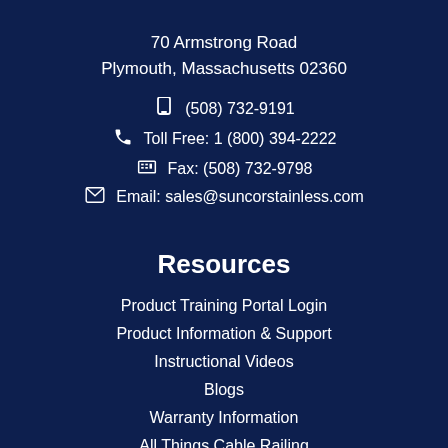70 Armstrong Road
Plymouth, Massachusetts 02360
(508) 732-9191
Toll Free: 1 (800) 394-2222
Fax: (508) 732-9798
Email: sales@suncorstainless.com
Resources
Product Training Portal Login
Product Information & Support
Instructional Videos
Blogs
Warranty Information
All Things Cable Railing